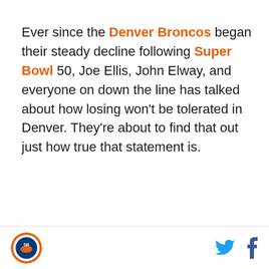Ever since the Denver Broncos began their steady decline following Super Bowl 50, Joe Ellis, John Elway, and everyone on down the line has talked about how losing won't be tolerated in Denver. They're about to find that out just how true that statement is.
[Figure (logo): Circular sports logo with orange and blue design]